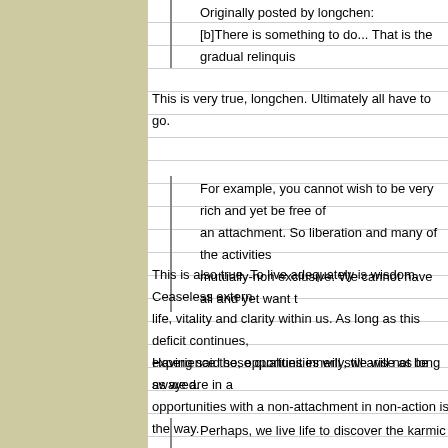Originally posted by longchen:
[b]There is something to do... That is the gradual relinquis
This is very true, longchen. Ultimately all have to go.
For example, you cannot wish to be very rich and yet be free of an attachment. So liberation and many of the activities are mutually-non exclusive. We cannot have all and yet want t
This is also true. To live adequately is wisdom. Ceaseless extern life, vitality and clarity within us. As long as this deficit continues, experience these qualities innerly, we will not be swayed.
Having said so, opportunities will still arise as long as we are in a opportunities with a non-attachment in non-action is the way.
Perhaps, we live life to discover the karmic patterns that b relationship. And we must take the additional step to cle transformation. In the process of transformation, the old a to the newer state of being. One either gets ejected from on their own accord.